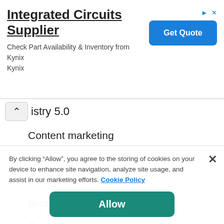[Figure (screenshot): Advertisement banner for Integrated Circuits Supplier (Kynix) with a 'Get Quote' button and small ad icons in top right.]
istry 5.0
Content marketing
Datasphere
Smart cities
Blockchain technology
Smart sensors
By clicking “Allow”, you agree to the storing of cookies on your device to enhance site navigation, analyze site usage, and assist in our marketing efforts. Cookie Policy
Allow